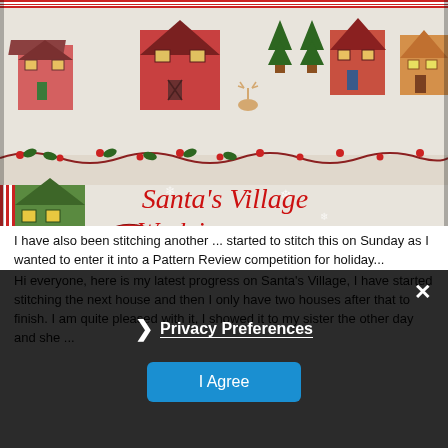[Figure (photo): Cross-stitch embroidery photo of Santa's Village work in progress, showing colorful stitched houses, Christmas trees, and decorative borders. Text overlay reads "Santa's Village Work in progress" in red italic script, with website www.happinessiscrossstitching.blogspot.com at bottom.]
Hi everyone, here is my latest progress on Santa's Village, I have started stitching the next house and then I only have two houses after that to finish. I am quite pleased with it, I showed it to my sister the other day and she ...
I have also been stitching another ... started to stitch this on Sunday as I wanted to enter it into a Pattern Review competition for holiday...
Privacy Preferences
I Agree